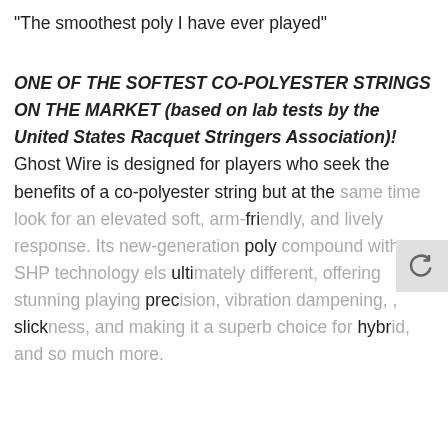"The smoothest poly I have ever played"
ONE OF THE SOFTEST CO-POLYESTER STRINGS ON THE MARKET (based on lab tests by the United States Racquet Stringers Association)! Ghost Wire is designed for players who seek the benefits of a co-polyester string but at the same time look for an elevated soft, arm-friendly, and lively response. Its new-generation poly compound with SHP technology feels ultimately different, offering stunning playing precision, vibration dampening, slickness, and making it a superb choice for hybrid, and so much more.
Please note: You can purchase this string in a super thin 19 gauge (1.10 mm). Lab tests reveal
COOKIES
This website is using cookies. We use them to give you the best experience. If you continue using our website, we'll assume that you are happy to receive all cookies on this website.
CONTINUE   ACCEPT ALL   Decline
Learn more